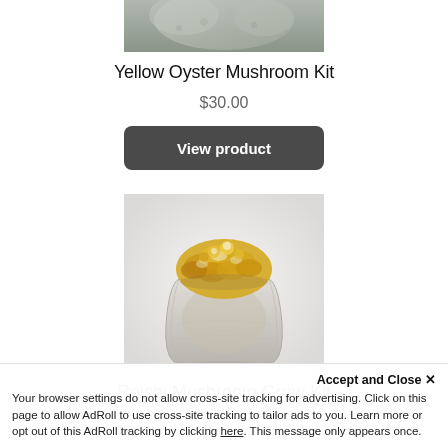[Figure (photo): Cropped top portion of Yellow Oyster Mushroom Kit product image]
Yellow Oyster Mushroom Kit
$30.00
View product
[Figure (photo): Reishi mushroom grow kit in a plastic bag with golden/yellow mushrooms sprouting from the top, on white background]
Reishi Mushroom Grow Kit
Accept and Close ✕
Your browser settings do not allow cross-site tracking for advertising. Click on this page to allow AdRoll to use cross-site tracking to tailor ads to you. Learn more or opt out of this AdRoll tracking by clicking here. This message only appears once.